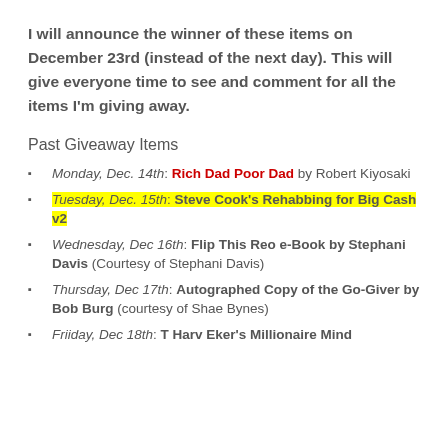I will announce the winner of these items on December 23rd (instead of the next day).  This will give everyone time to see and comment for all the items  I'm giving away.
Past Giveaway Items
Monday, Dec. 14th: Rich Dad Poor Dad by Robert Kiyosaki
Tuesday, Dec. 15th: Steve Cook's Rehabbing for Big Cash v2
Wednesday, Dec 16th: Flip This Reo e-Book by Stephani Davis (Courtesy of Stephani Davis)
Thursday, Dec 17th: Autographed Copy of the Go-Giver by Bob Burg (courtesy of Shae Bynes)
Friiday, Dec 18th: T Harv Eker's Millionaire Mind